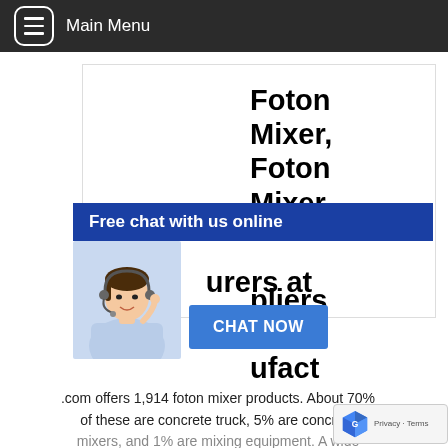Main Menu
Foton Mixer, Foton Mixer Suppliers and Manufacturers at
[Figure (screenshot): Live chat overlay with blue banner 'Free chat with us online', cartoon female agent with headset, and blue 'CHAT NOW' button]
.com offers 1,914 foton mixer products. About 70% of these are concrete truck, 5% are concrete mixers, and 1% are mixing equipment. A wide
Mini
[Figure (logo): Google reCAPTCHA badge with Privacy and Terms links]